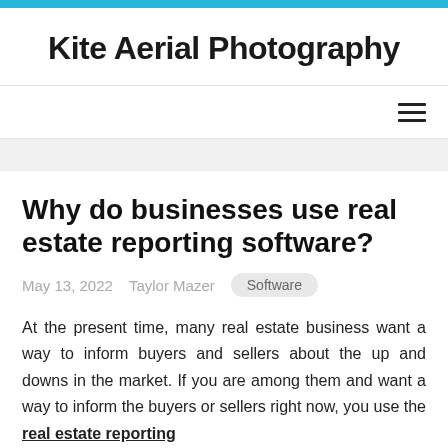Kite Aerial Photography
Why do businesses use real estate reporting software?
May 13, 2022    Taylor Mazer    Software
At the present time, many real estate business want a way to inform buyers and sellers about the up and downs in the market. If you are among them and want a way to inform the buyers or sellers right now, you use the real estate reporting